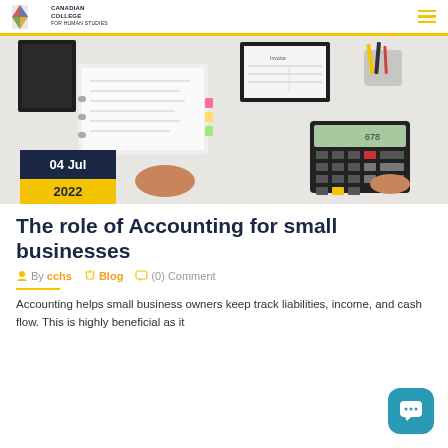Canadian College for Human Studies
[Figure (photo): Overhead view of hands using a calculator beside open binders with documents and an invoice on a white desk. Date badge shows 04 Jul 2022.]
The role of Accounting for small businesses
By cchs  Blog  (0) Comment
Accounting helps small business owners keep track liabilities, income, and cash flow. This is highly beneficial as it